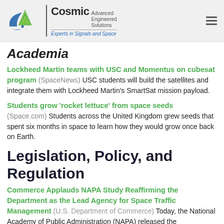[Figure (logo): Cosmic Advanced Engineered Solutions logo with green mountain/wave symbol and blue swoosh, with tagline 'Experts in Signals and Space']
Academia
Lockheed Martin teams with USC and Momentus on cubesat program (SpaceNews) USC students will build the satellites and integrate them with Lockheed Martin's SmartSat mission payload.
Students grow 'rocket lettuce' from space seeds (Space.com) Students across the United Kingdom grew seeds that spent six months in space to learn how they would grow once back on Earth.
Legislation, Policy, and Regulation
Commerce Applauds NAPA Study Reaffirming the Department as the Lead Agency for Space Traffic Management (U.S. Department of Commerce) Today, the National Academy of Public Administration (NAPA) released the Congressionally directed study, "Space Traffic Management: Assessment of the Feasibility, Expected Effectiveness, and